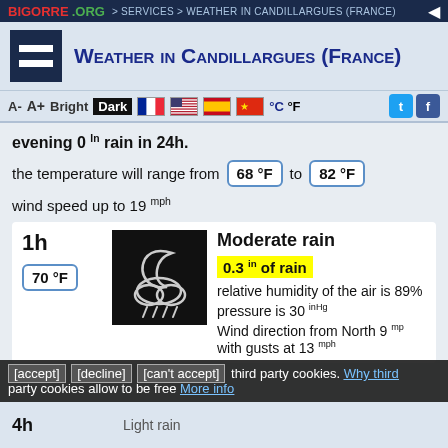BIGORRE.ORG > Services > Weather in Candillargues (France)
Weather in Candillargues (France)
A-  A+  Bright  Dark  °C  °F
evening 0 In rain in 24h.
the temperature will range from 68 °F to 82 °F
wind speed up to 19 mph
1h  70 °F
[Figure (illustration): Weather icon: night cloud with rain (white icon on black background)]
Moderate rain
0.3 in of rain
relative humidity of the air is 89%
pressure is 30 inHg
Wind direction from North 9 mph with gusts at 13 mph
[accept] [decline] [can't accept] third party cookies. Why third party cookies allow to be free More info
4h Light rain